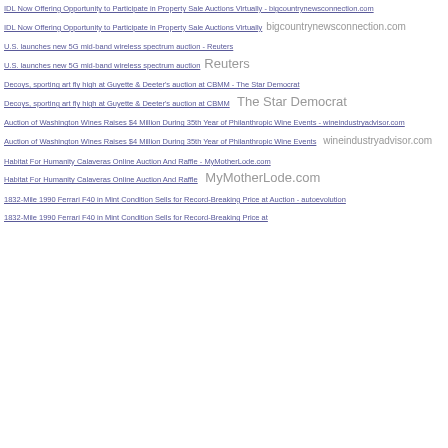IDL Now Offering Opportunity to Participate in Property Sale Auctions Virtually - bigcountrynewsconnection.com
IDL Now Offering Opportunity to Participate in Property Sale Auctions Virtually  bigcountrynewsconnection.com
U.S. launches new 5G mid-band wireless spectrum auction - Reuters
U.S. launches new 5G mid-band wireless spectrum auction  Reuters
Decoys, sporting art fly high at Guyette & Deeter's auction at CBMM - The Star Democrat
Decoys, sporting art fly high at Guyette & Deeter's auction at CBMM  The Star Democrat
Auction of Washington Wines Raises $4 Million During 35th Year of Philanthropic Wine Events - wineindustryadvisor.com
Auction of Washington Wines Raises $4 Million During 35th Year of Philanthropic Wine Events  wineindustryadvisor.com
Habitat For Humanity Calaveras Online Auction And Raffle - MyMotherLode.com
Habitat For Humanity Calaveras Online Auction And Raffle  MyMotherLode.com
1832-Mile 1990 Ferrari F40 in Mint Condition Sells for Record-Breaking Price at Auction - autoevolution
1832-Mile 1990 Ferrari F40 in Mint Condition Sells for Record-Breaking Price at